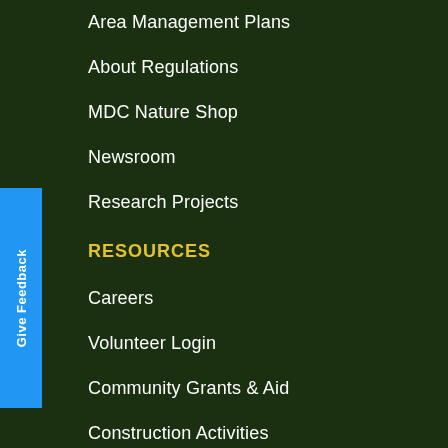Area Management Plans
About Regulations
MDC Nature Shop
Newsroom
Research Projects
RESOURCES
Careers
Volunteer Login
Community Grants & Aid
Construction Activities
Mobile Apps
AskMDC Videos